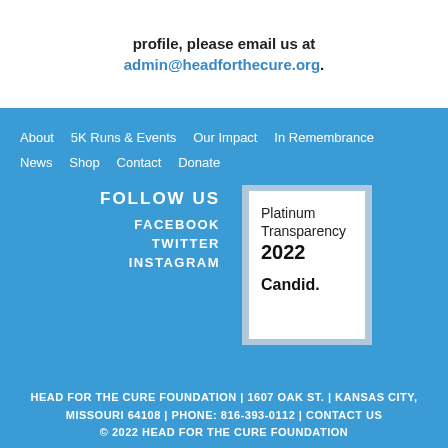To update information for this profile, please email us at admin@headforthecure.org.
About  5K Runs & Events  Our Impact  In Remembrance  News  Shop  Contact  Donate
FOLLOW US
FACEBOOK
TWITTER
INSTAGRAM
[Figure (other): Platinum Transparency 2022 Candid. badge]
HEAD FOR THE CURE FOUNDATION | 1607 OAK ST. | KANSAS CITY, MISSOURI 64108 | PHONE: 816-393-0112 | CONTACT US
© 2022 HEAD FOR THE CURE FOUNDATION